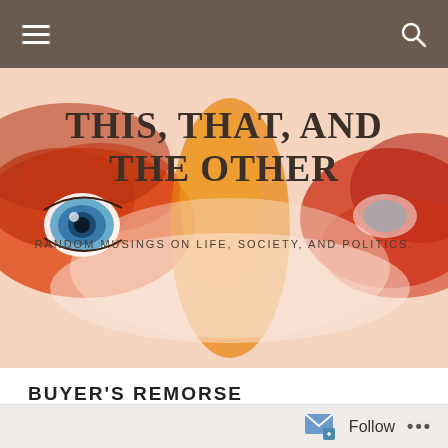Navigation bar with menu and search icons
[Figure (illustration): Close-up of eyes with red and orange artistic paint/makeup effect, used as blog hero banner background]
THIS, THAT, AND THE OTHER
RANDOM MUSINGS ON LIFE, SOCIETY, AND POLITICS.
BUYER'S REMORSE
Follow ...